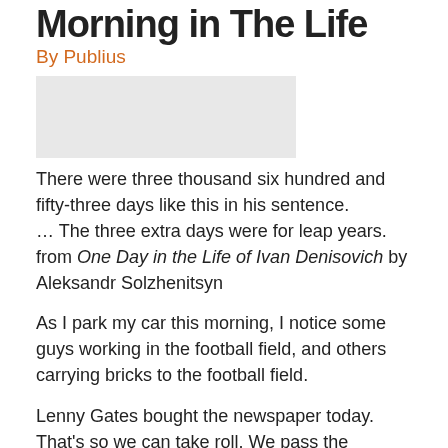Morning in The Life
By Publius
[Figure (photo): Partial image placeholder, light gray rectangle]
There were three thousand six hundred and fifty-three days like this in his sentence.
… The three extra days were for leap years.
from One Day in the Life of Ivan Denisovich by Aleksandr Solzhenitsyn
As I park my car this morning, I notice some guys working in the football field, and others carrying bricks to the football field.
Lenny Gates bought the newspaper today. That's so we can take roll. We pass the newspaper around. By the time it gets to me, the sports section, the funnies,